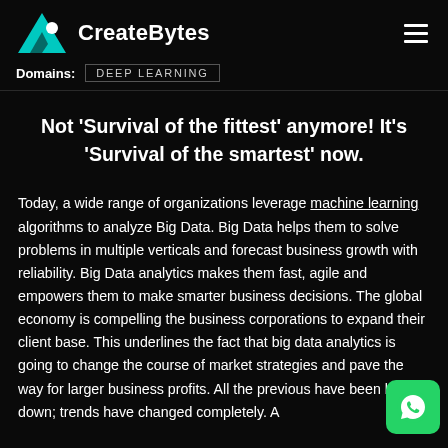CreateBytes — Domains: DEEP LEARNING
Not ‘Survival of the fittest’ anymore! It’s ‘Survival of the smartest’ now.
Today, a wide range of organizations leverage machine learning algorithms to analyze Big Data. Big Data helps them to solve problems in multiple verticals and forecast business growth with reliability. Big Data analytics makes them fast, agile and empowers them to make smarter business decisions. The global economy is compelling the business corporations to expand their client base. This underlines the fact that big data analytics is going to change the course of market strategies and pave the way for larger business profits. All the previous have been broken down; trends have changed completely.